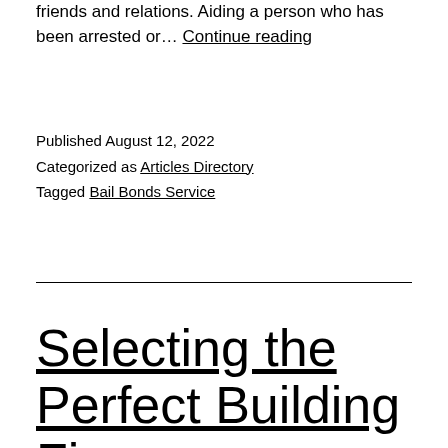friends and relations. Aiding a person who has been arrested or… Continue reading
Published August 12, 2022
Categorized as Articles Directory
Tagged Bail Bonds Service
Selecting the Perfect Building Firm